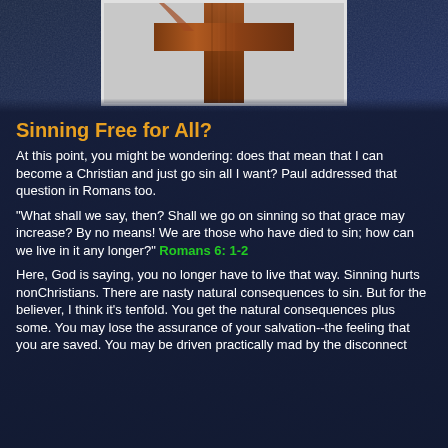[Figure (photo): Partial image of a wooden cross or figure (cropped at top), with textured brown wood visible against a light gray background]
Sinning Free for All?
At this point, you might be wondering: does that mean that I can become a Christian and just go sin all I want? Paul addressed that question in Romans too.
"What shall we say, then? Shall we go on sinning so that grace may increase? By no means! We are those who have died to sin; how can we live in it any longer?" Romans 6: 1-2
Here, God is saying, you no longer have to live that way. Sinning hurts nonChristians. There are nasty natural consequences to sin. But for the believer, I think it’s tenfold. You get the natural consequences plus some. You may lose the assurance of your salvation--the feeling that you are saved. You may be driven practically mad by the disconnect